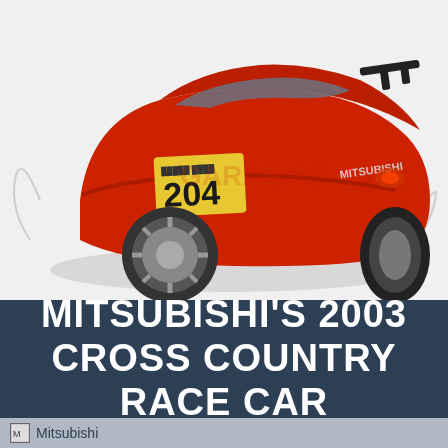[Figure (illustration): Illustrated concept rendering of a red Mitsubishi cross country race car with racing number 204 on the door, shown from a rear three-quarter angle on a snowy/white surface with dramatic styling and spoiler]
MITSUBISHI'S 2003 CROSS COUNTRY RACE CAR
[Figure (logo): Mitsubishi logo/brand mark in footer area]